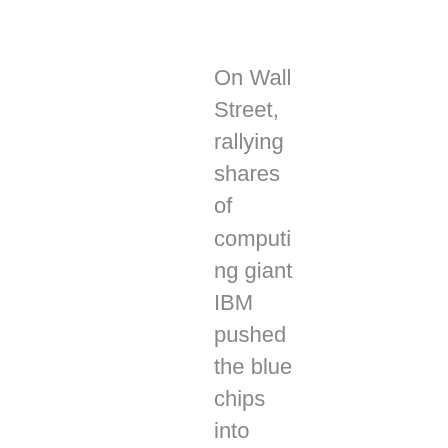On Wall Street, rallying shares of computing giant IBM pushed the blue chips into positive territory, but trader were still cautious over debt talks in